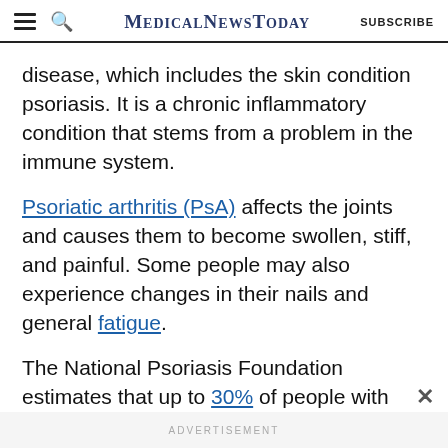MedicalNewsToday SUBSCRIBE
disease, which includes the skin condition psoriasis. It is a chronic inflammatory condition that stems from a problem in the immune system.
Psoriatic arthritis (PsA) affects the joints and causes them to become swollen, stiff, and painful. Some people may also experience changes in their nails and general fatigue.
The National Psoriasis Foundation estimates that up to 30% of people with psoriatic skin changes will develop PsA. The American College of Rheumatology suggest...
ADVERTISEMENT